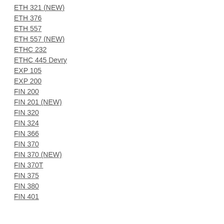ETH 321 (NEW)
ETH 376
ETH 557
ETH 557 (NEW)
ETHC 232
ETHC 445 Devry
EXP 105
EXP 200
FIN 200
FIN 201 (NEW)
FIN 320
FIN 324
FIN 366
FIN 370
FIN 370 (NEW)
FIN 370T
FIN 375
FIN 380
FIN 401